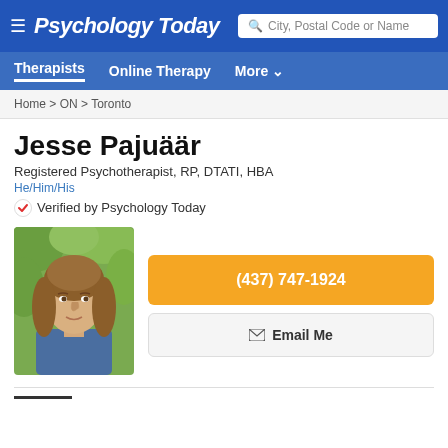Psychology Today
Therapists  Online Therapy  More
Home > ON > Toronto
Jesse Pajuäär
Registered Psychotherapist, RP, DTATI, HBA
He/Him/His
Verified by Psychology Today
[Figure (photo): Headshot photo of Jesse Pajuäär, a man with long brown hair, wearing a blue shirt, photographed outdoors with green foliage background]
(437) 747-1924
Email Me